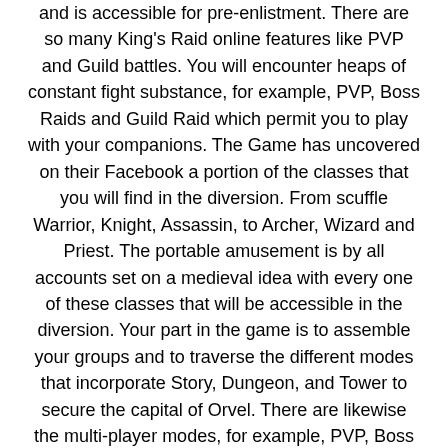and is accessible for pre-enlistment. There are so many King's Raid online features like PVP and Guild battles. You will encounter heaps of constant fight substance, for example, PVP, Boss Raids and Guild Raid which permit you to play with your companions. The Game has uncovered on their Facebook a portion of the classes that you will find in the diversion. From scuffle Warrior, Knight, Assassin, to Archer, Wizard and Priest. The portable amusement is by all accounts set on a medieval idea with every one of these classes that will be accessible in the diversion. Your part in the game is to assemble your groups and to traverse the different modes that incorporate Story, Dungeon, and Tower to secure the capital of Orvel. There are likewise the multi-player modes, for example, PVP, Boss Raids and Guild Raid accessible.
Android Download English Version King's Raid MOD APK Android
Story Of King's Raid MOD:
100 Years Ago, a wizard opened a door to the demon world,